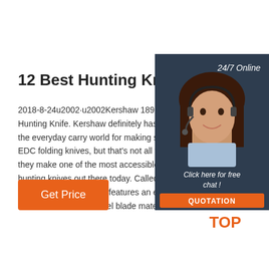12 Best Hunting Knives Of 2...
2018-8-24u2002·u2002Kershaw 1896GH Lo... Hunting Knife. Kershaw definitely has a repu... the everyday carry world for making superb e... EDC folding knives, but that's not all they do... they make one of the most accessible and bu... hunting knives out there today. Called the Lo... hunting knife, this blade features an easy-to-... 8Cr13MoV stainless steel blade mated to a ...
[Figure (photo): Chat widget with photo of smiling woman wearing headset, dark background, 24/7 Online label, Click here for free chat, and QUOTATION button]
Get Price
[Figure (logo): TOP logo with orange dots forming triangle and orange text TOP]